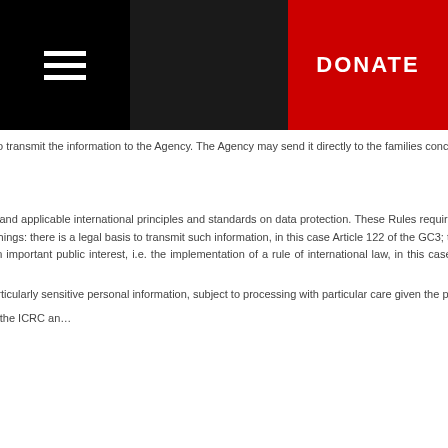DONATE (button)
Agency and not for the Power into whose hands the information falls, the latter to transmit the information to the Agency. The Agency may send it directly to the families concerned if it considers...
Back to top
4. Protection of personal information
4842   The Agency follows the ICRC's Rules on Personal Data Protection and applicable international principles and standards on data protection. These Rules require that the processing of personal data must meet certain conditions. Such processing is lawful if, among other things: there is a legal basis to transmit such information, in this case Article 122 of the GC3; the data subject (in this case the prisoner of war) or of another person consents to the processing; it serves an important public interest, i.e. the implementation of a rule of international law, in this case the maintenance of family links; it assists States and National Societies in their efforts to respect data protection.
4843   Information on the state of health of prisoners of war constitutes particularly sensitive personal information, subject to processing with particular care given the person's high degree of vulnera...
4844   In the processing and protection o... privileges and immunities that the ICRC an...